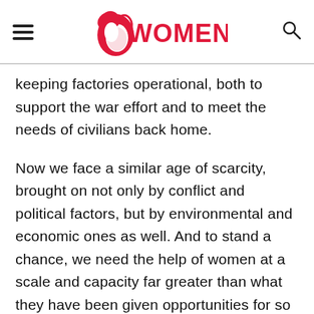WOMENIO
keeping factories operational, both to support the war effort and to meet the needs of civilians back home.
Now we face a similar age of scarcity, brought on not only by conflict and political factors, but by environmental and economic ones as well. And to stand a chance, we need the help of women at a scale and capacity far greater than what they have been given opportunities for so far.